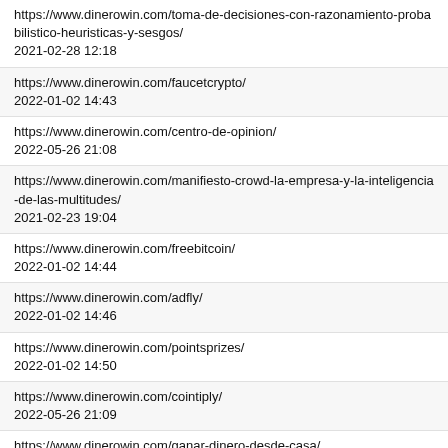https://www.dinerowin.com/toma-de-decisiones-con-razonamiento-probabilistico-heuristicas-y-sesgos/
2021-02-28 12:18
https://www.dinerowin.com/faucetcrypto/
2022-01-02 14:43
https://www.dinerowin.com/centro-de-opinion/
2022-05-26 21:08
https://www.dinerowin.com/manifiesto-crowd-la-empresa-y-la-inteligencia-de-las-multitudes/
2021-02-23 19:04
https://www.dinerowin.com/freebitcoin/
2022-01-02 14:44
https://www.dinerowin.com/adfly/
2022-01-02 14:46
https://www.dinerowin.com/pointsprizes/
2022-01-02 14:50
https://www.dinerowin.com/cointiply/
2022-05-26 21:09
https://www.dinerowin.com/ganar-dinero-desde-casa/
2022-08-02 14:00
https://www.dinerowin.com/grabpoints/
2022-01-02 14:56
https://www.dinerowin.com/ganar-dinero-trading/
2021-04-14 15:07
https://www.dinerowin.com/mobrog/